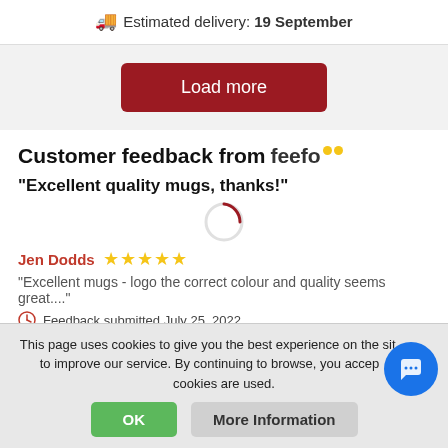Estimated delivery: 19 September
Load more
Customer feedback from feefo
"Excellent quality mugs, thanks!"
Jen Dodds ★★★★★
"Excellent mugs - logo the correct colour and quality seems great...."
Feedback submitted July 25, 2022
This page uses cookies to give you the best experience on the site and to improve our service. By continuing to browse, you accept that cookies are used.